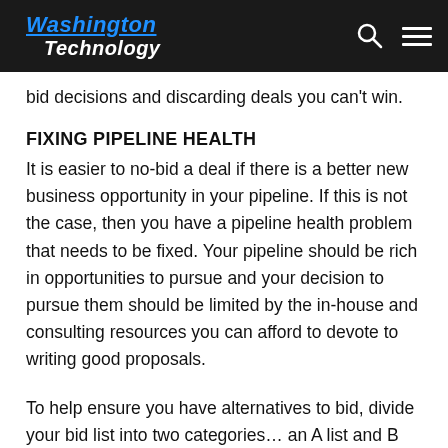Washington Technology
bid decisions and discarding deals you can't win.
FIXING PIPELINE HEALTH
It is easier to no-bid a deal if there is a better new business opportunity in your pipeline.  If this is not the case, then you have a pipeline health problem that needs to be fixed.  Your pipeline should be rich in opportunities to pursue and your decision to pursue them should be limited by the in-house and consulting resources you can afford to devote to writing good proposals.
To help ensure you have alternatives to bid, divide your bid list into two categories… an A list and B list.  The A list deals are the deals you intend to bid and are working hard to get positioned to win.  Your B list deals are the ones you would like to bid, but don't have the resources to bid them unless one of